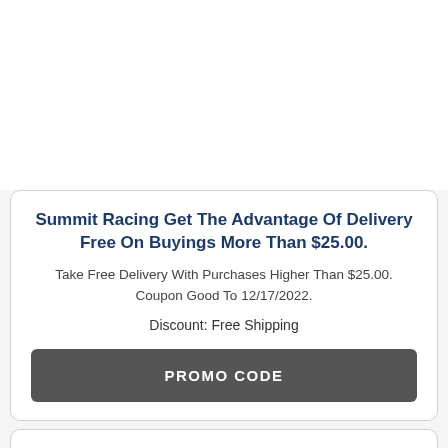Summit Racing Get The Advantage Of Delivery Free On Buyings More Than $25.00.
Take Free Delivery With Purchases Higher Than $25.00. Coupon Good To 12/17/2022.
Discount: Free Shipping
PROMO CODE
Summit Racing Up To An Extra 10% Save Source...